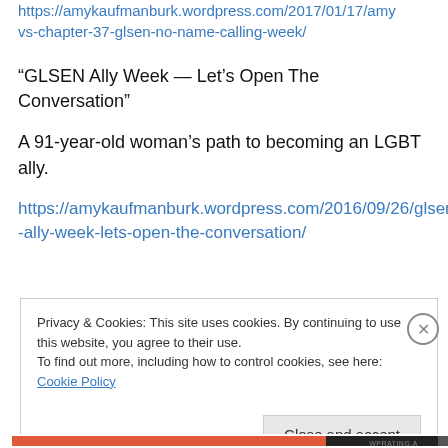https://amykaufmanburk.wordpress.com/2017/01/17/amy-vs-chapter-37-glsen-no-name-calling-week/
“GLSEN Ally Week — Let’s Open The Conversation”
A 91-year-old woman’s path to becoming an LGBT ally.
https://amykaufmanburk.wordpress.com/2016/09/26/glsen-ally-week-lets-open-the-conversation/
Privacy & Cookies: This site uses cookies. By continuing to use this website, you agree to their use.
To find out more, including how to control cookies, see here: Cookie Policy
Close and accept